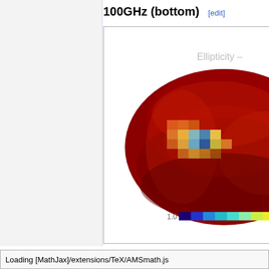100GHz (bottom) [edit]
[Figure (other): Partial sky map (Mollweide/elliptical projection) showing ellipticity at 100GHz, bottom. The map is predominantly dark red with a cluster of colored pixels (blue, cyan, yellow, orange) near the upper-left quadrant of the ellipse indicating higher ellipticity values. A partial colorbar at the bottom shows a scale starting at 1.0 with a gradient from blue through cyan to yellow-green. The title text 'Ellipticity -' is partially visible in gray at the upper right of the image.]
Loading [MathJax]/extensions/TeX/AMSmath.js